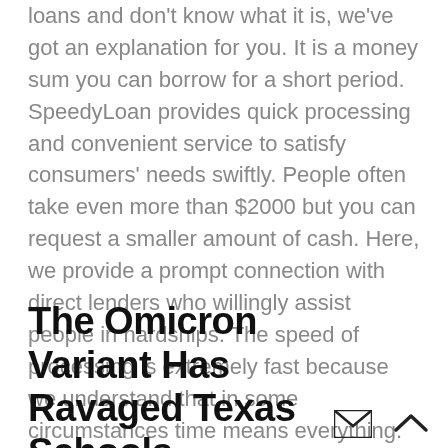loans and don't know what it is, we've got an explanation for you. It is a money sum you can borrow for a short period. SpeedyLoan provides quick processing and convenient service to satisfy consumers' needs swiftly. People often take even more than $2000 but you can request a smaller amount of cash. Here, we provide a prompt connection with direct lenders who willingly assist people in hardships. The speed of processing is extremely fast because we understand that in some circumstances time means everything. So, we hurry to help consumers to receive their cash as fast as it's possible. All the requests are examined and approved in no longer term than 1 day.
The Omicron Variant Has Ravaged Texas Schools